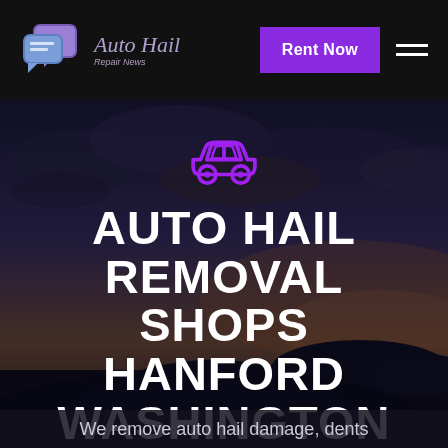Auto Hail Repair News — Rent Now
[Figure (screenshot): Website screenshot showing Auto Hail Repair News navbar with logo, Rent Now button, and hamburger menu on black background]
AUTO HAIL REMOVAL SHOPS HANFORD WASHINGTON
We remove auto hail damage, dents